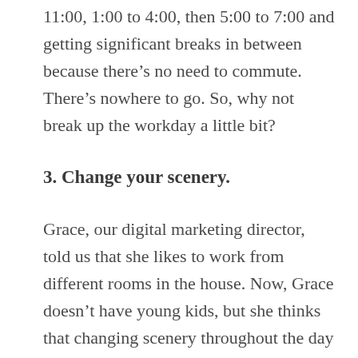11:00, 1:00 to 4:00, then 5:00 to 7:00 and getting significant breaks in between because there’s no need to commute. There’s nowhere to go. So, why not break up the workday a little bit?
3. Change your scenery.
Grace, our digital marketing director, told us that she likes to work from different rooms in the house. Now, Grace doesn’t have young kids, but she thinks that changing scenery throughout the day is really important and getting a fresh view of where you are. And I agree with that. I actually like to move around my office, in different